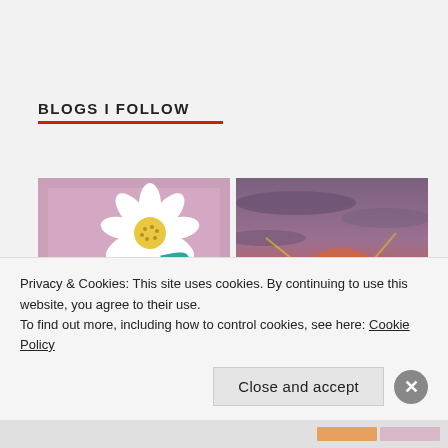BLOGS I FOLLOW
[Figure (illustration): FAB Life...Take 2! blog logo - pink/mauve background with white daisy flower and teal handwritten text]
[Figure (photo): Sunset photo showing bright orange/red sun setting behind silhouetted buildings and hills with dramatic purple sky]
Privacy & Cookies: This site uses cookies. By continuing to use this website, you agree to their use.
To find out more, including how to control cookies, see here: Cookie Policy
Close and accept